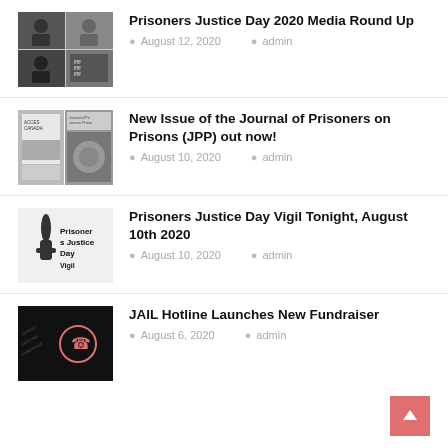[Figure (photo): Thumbnail image showing video call grid with people]
Prisoners Justice Day 2020 Media Round Up
August 12, 2020   admin
[Figure (photo): Thumbnail showing journal covers for Journal of Prisoners on Prisons]
New Issue of the Journal of Prisoners on Prisons (JPP) out now!
August 10, 2020   admin
[Figure (photo): Thumbnail showing Prisoners Justice Day Vigil poster]
Prisoners Justice Day Vigil Tonight, August 10th 2020
August 10, 2020   admin
[Figure (photo): Thumbnail showing phone hotline graphic on dark background]
JAIL Hotline Launches New Fundraiser
August 6, 2020   admin